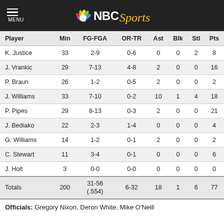NBC Sports
| Player | Min | FG-FGA | OR-TR | Ast | Blk | Stl | Pts |
| --- | --- | --- | --- | --- | --- | --- | --- |
| K. Justice | 33 | 2-9 | 0-6 | 0 | 0 | 2 | 8 |
| J. Vrankic | 29 | 7-13 | 4-8 | 2 | 0 | 0 | 16 |
| P. Braun | 26 | 1-2 | 0-5 | 2 | 0 | 0 | 2 |
| J. Williams | 33 | 7-10 | 0-2 | 10 | 1 | 4 | 18 |
| P. Pipes | 29 | 8-13 | 0-3 | 2 | 0 | 0 | 21 |
| J. Bediako | 22 | 2-3 | 1-4 | 0 | 0 | 0 | 4 |
| G. Williams | 14 | 1-2 | 0-1 | 2 | 0 | 0 | 2 |
| C. Stewart | 11 | 3-4 | 0-1 | 0 | 0 | 0 | 6 |
| J. Holt | 3 | 0-0 | 0-0 | 0 | 0 | 0 | 0 |
| Totals | 200 | 31-56 (.554) | 6-32 | 18 | 1 | 6 | 77 |
Officials: Gregory Nixon, Deron White, Mike O'Neill